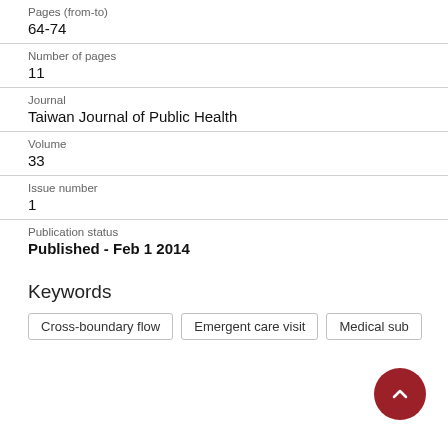Pages (from-to)
64-74
Number of pages
11
Journal
Taiwan Journal of Public Health
Volume
33
Issue number
1
Publication status
Published - Feb 1 2014
Keywords
Cross-boundary flow
Emergent care visit
Medical sub...